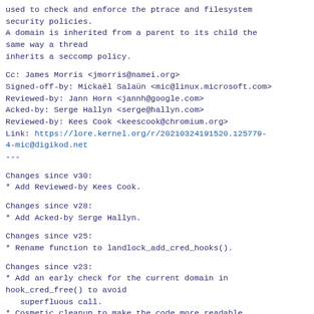used to check and enforce the ptrace and filesystem
security policies.
A domain is inherited from a parent to its child the
same way a thread
inherits a seccomp policy.
Cc: James Morris <jmorris@namei.org>
Signed-off-by: Mickaël Salaün <mic@linux.microsoft.com>
Reviewed-by: Jann Horn <jannh@google.com>
Acked-by: Serge Hallyn <serge@hallyn.com>
Reviewed-by: Kees Cook <keescook@chromium.org>
Link: https://lore.kernel.org/r/20210324191520.125779-4-mic@digikod.net
---
Changes since v30:
* Add Reviewed-by Kees Cook.
Changes since v28:
* Add Acked-by Serge Hallyn.
Changes since v25:
* Rename function to landlock_add_cred_hooks().
Changes since v23:
* Add an early check for the current domain in
hook_cred_free() to avoid
   superfluous call.
* Cosmetic cleanup to make the code more readable.